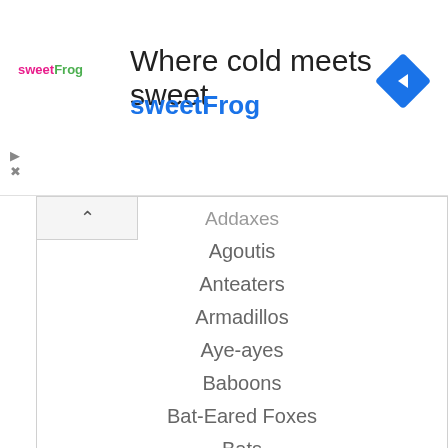[Figure (screenshot): SweetFrog advertisement banner with logo, tagline 'Where cold meets sweet', brand name 'sweetFrog', and a blue navigation diamond icon]
Addaxes
Agoutis
Anteaters
Armadillos
Aye-ayes
Baboons
Bat-Eared Foxes
Bats
Binturongs
Bears
Belugas
Binturongs
Bobcats
Bongos
Bonobos